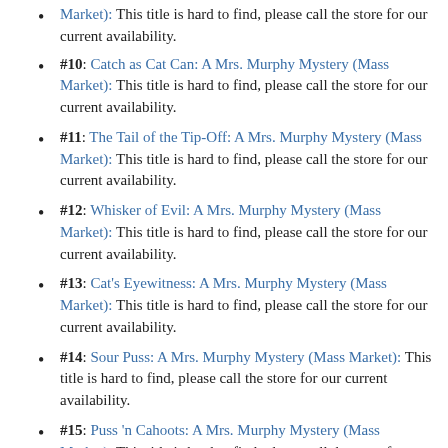Market): This title is hard to find, please call the store for our current availability.
#10: Catch as Cat Can: A Mrs. Murphy Mystery (Mass Market): This title is hard to find, please call the store for our current availability.
#11: The Tail of the Tip-Off: A Mrs. Murphy Mystery (Mass Market): This title is hard to find, please call the store for our current availability.
#12: Whisker of Evil: A Mrs. Murphy Mystery (Mass Market): This title is hard to find, please call the store for our current availability.
#13: Cat's Eyewitness: A Mrs. Murphy Mystery (Mass Market): This title is hard to find, please call the store for our current availability.
#14: Sour Puss: A Mrs. Murphy Mystery (Mass Market): This title is hard to find, please call the store for our current availability.
#15: Puss 'n Cahoots: A Mrs. Murphy Mystery (Mass Market): This title is hard to find, please call the store for our current availability.